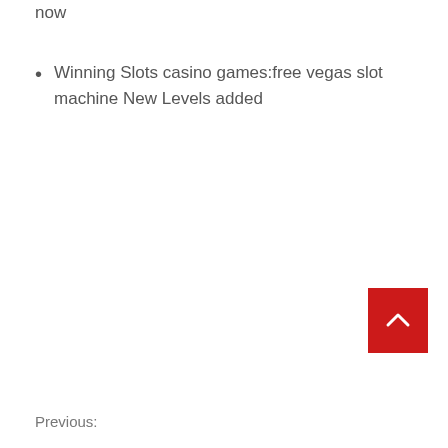now
Winning Slots casino games:free vegas slot machine New Levels added
Previous: